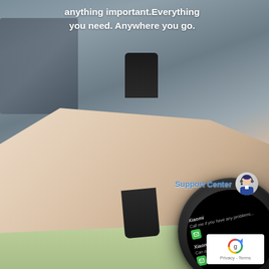anything important. Everything you need. Anywhere you go.
[Figure (photo): A smartwatch on a person's wrist showing messaging notifications with green WeChat-style icons on a black circular display. The watch has a black band and round face. The background shows a laptop keyboard and the person is wearing a light green sleeve.]
Support Center
[Figure (logo): Google reCAPTCHA badge with spinning arrow logo and Privacy - Terms text]